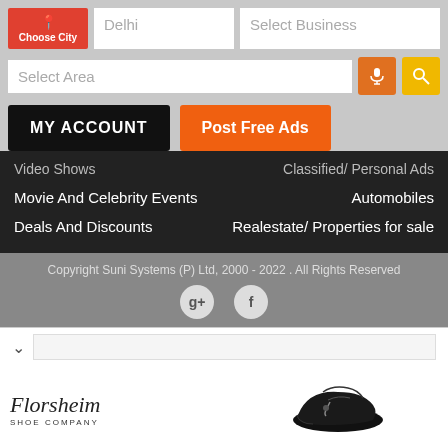[Figure (screenshot): Mobile app header with Choose City button, Delhi text input, Select Business input, Select Area input with mic and search buttons, MY ACCOUNT and Post Free Ads buttons, dark navigation menu, gray footer with copyright, social icons, collapse chevron, and Florsheim shoe advertisement banner]
Delhi
Select Business
Select Area
MY ACCOUNT
Post Free Ads
Video Shows
Classified/ Personal Ads
Movie And Celebrity Events
Automobiles
Deals And Discounts
Realestate/ Properties for sale
Copyright Suni Systems (P) Ltd, 2000 - 2022 . All Rights Reserved
[Figure (logo): Florsheim Shoe Company logo with shoe image advertisement]